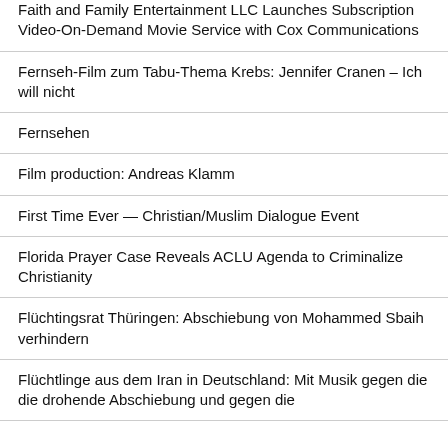Faith and Family Entertainment LLC Launches Subscription Video-On-Demand Movie Service with Cox Communications
Fernseh-Film zum Tabu-Thema Krebs: Jennifer Cranen – Ich will nicht
Fernsehen
Film production: Andreas Klamm
First Time Ever — Christian/Muslim Dialogue Event
Florida Prayer Case Reveals ACLU Agenda to Criminalize Christianity
Flüchtingsrat Thüringen: Abschiebung von Mohammed Sbaih verhindern
Flüchtlinge aus dem Iran in Deutschland: Mit Musik gegen die die drohende Abschiebung und gegen die